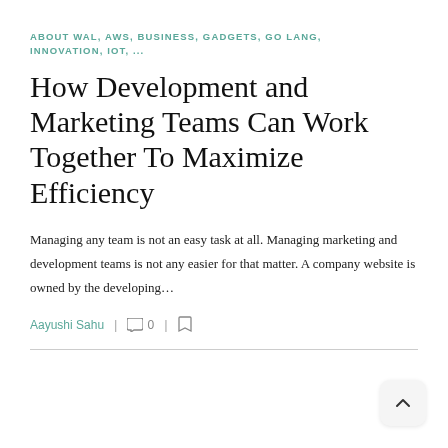ABOUT WAL, AWS, BUSINESS, GADGETS, GO LANG, INNOVATION, IOT, ...
How Development and Marketing Teams Can Work Together To Maximize Efficiency
Managing any team is not an easy task at all. Managing marketing and development teams is not any easier for that matter. A company website is owned by the developing…
Aayushi Sahu  |  0  |